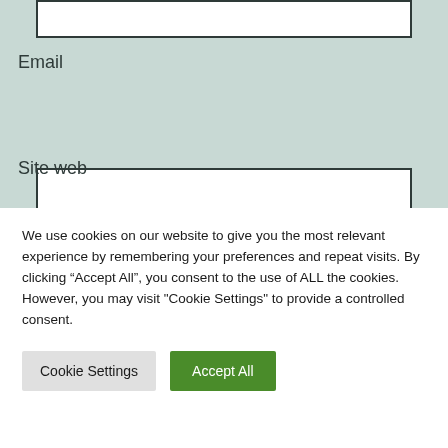[Figure (screenshot): Empty text input field (top, partially visible)]
Email
[Figure (screenshot): Empty email text input field]
Site web
[Figure (screenshot): Empty site web text input field (partially visible)]
We use cookies on our website to give you the most relevant experience by remembering your preferences and repeat visits. By clicking “Accept All”, you consent to the use of ALL the cookies. However, you may visit "Cookie Settings" to provide a controlled consent.
Cookie Settings
Accept All